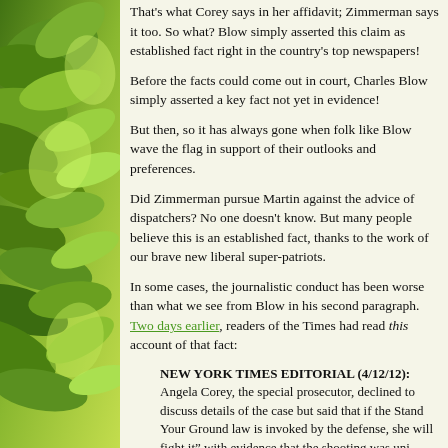That’s what Corey says in her affidavit; Zimmerman says it too. So what? Blow simply asserted this claim as established fact right in the country’s top newspapers!
Before the facts could come out in court, Charles Blow simply asserted a key fact not yet in evidence!
But then, so it has always gone when folk like Blow wave the flag in support of their outlooks and preferences.
Did Zimmerman pursue Martin against the advice of dispatchers? No one doesn’t know. But many people believe this is an established fact, thanks to the work of our brave new liberal super-patriots.
In some cases, the journalistic conduct has been worse than what we see from Blow in his second paragraph. Two days earlier, readers of the Times had read this account of that fact:
NEW YORK TIMES EDITORIAL (4/12/12): Angela Corey, the special prosecutor, declined to discuss details of the case but said that if the Stand Your Ground law is invoked by the defense, she will fight it” with evidence that the shooting was uni…